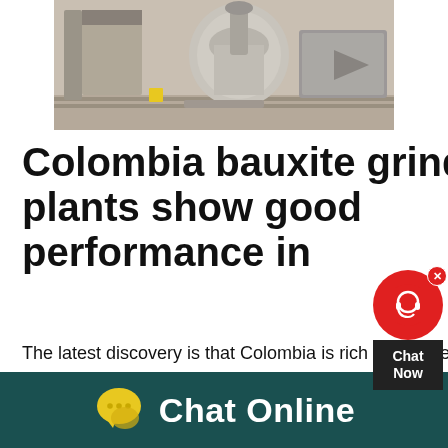[Figure (photo): Industrial bauxite grinding plant machinery in a facility, showing large equipment on rails in a warehouse setting]
Colombia bauxite grinding plants show good performance in
The latest discovery is that Colombia is rich in bauxite For the bauxite processing and application, supply all kinds of bauxite grinding plant and grinding production line which process various fineness of bauxite powderDec 02, 2019· JAKARTA (TheInsiderStories) – PT Well Harvest Winning Alumina Refinery, unit of PT Cita Mineral Investindo Tbk (IDX: CITA) under Harita Group, and Hongfa Weili Alumina
[Figure (other): Chat widget with red circle button showing headset icon, close X button, and Chat Now label on dark background]
[Figure (other): Bottom chat bar with yellow chat bubble icon and Chat Online text on dark teal background]